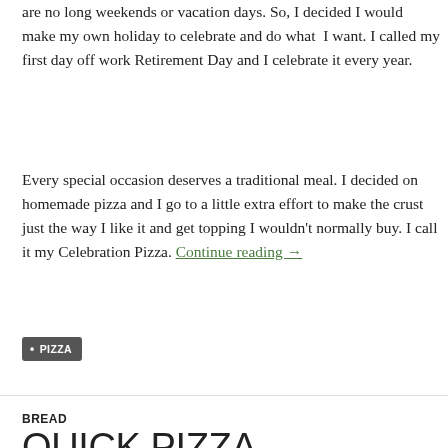are no long weekends or vacation days. So, I decided I would make my own holiday to celebrate and do what I want. I called my first day off work Retirement Day and I celebrate it every year.
Every special occasion deserves a traditional meal. I decided on homemade pizza and I go to a little extra effort to make the crust just the way I like it and get topping I wouldn't normally buy. I call it my Celebration Pizza. Continue reading →
PIZZA
BREAD
QUICK PIZZA